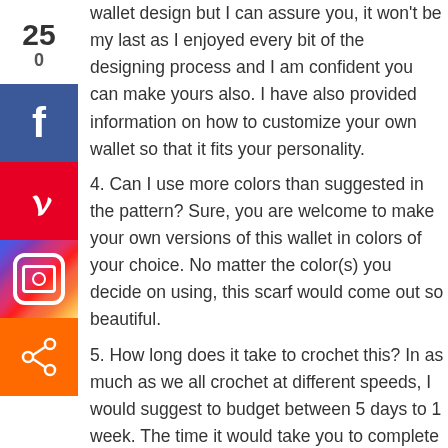[Figure (infographic): Left sidebar with share count (250) and social media share buttons: Facebook (blue), Pinterest (red), Instagram (gradient), Share (orange)]
wallet design but I can assure you, it won't be my last as I enjoyed every bit of the designing process and I am confident you can make yours also. I have also provided information on how to customize your own wallet so that it fits your personality.
4. Can I use more colors than suggested in the pattern? Sure, you are welcome to make your own versions of this wallet in colors of your choice. No matter the color(s) you decide on using, this scarf would come out so beautiful.
5. How long does it take to crochet this? In as much as we all crochet at different speeds, I would suggest to budget between 5 days to 1 week. The time it would take you to complete your wallet depends on so many things like – the size you are making, the speed at which